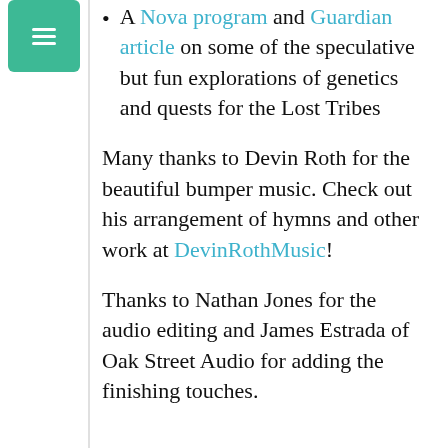A Nova program and Guardian article on some of the speculative but fun explorations of genetics and quests for the Lost Tribes
Many thanks to Devin Roth for the beautiful bumper music. Check out his arrangement of hymns and other work at DevinRothMusic!
Thanks to Nathan Jones for the audio editing and James Estrada of Oak Street Audio for adding the finishing touches.
[Figure (other): Audio player widget showing 0:00 / 1:47:16 with play button, progress bar, volume and more controls]
Share this